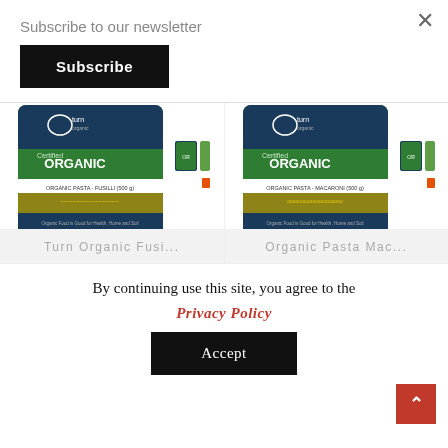Subscribe to our newsletter
Subscribe
[Figure (photo): Two product packages of Turn Organic pasta — Fusilli and Macaroni — green and dark blue bags with small variant images beside each]
Turn Organic Fusi...
Organic Pasta Mac...
By continuing use this site, you agree to the
Privacy Policy
Accept